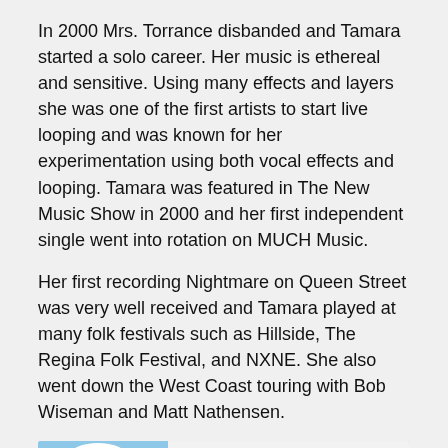In 2000 Mrs. Torrance disbanded and Tamara started a solo career. Her music is ethereal and sensitive. Using many effects and layers she was one of the first artists to start live looping and was known for her experimentation using both vocal effects and looping. Tamara was featured in The New Music Show in 2000 and her first independent single went into rotation on MUCH Music.
Her first recording Nightmare on Queen Street was very well received and Tamara played at many folk festivals such as Hillside, The Regina Folk Festival, and NXNE. She also went down the West Coast touring with Bob Wiseman and Matt Nathensen.
[Figure (screenshot): SoundCloud embedded player widget showing artwork with sky and ground, play button, track info 'Tamara Will...' and 'SWIM', SoundCloud logo, share button, orange 'Play on SoundCloud' bar, dark waveform bar with 'SWIM' label, 'Listen in browser' button, and duration '10:39'.]